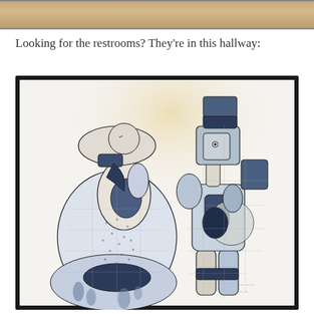[Figure (photo): Top portion of an image, partially cropped, showing a warm-toned interior scene.]
Looking for the restrooms? They're in this hallway:
[Figure (photo): A framed artwork mounted on a white wall showing two abstract tile mosaic figures — a rounded female form on the left wearing a skirt with dotted patterns, and a taller male form on the right — both rendered in blue and grey tones with black outlines, in a Cubist or Picasso-inspired style.]